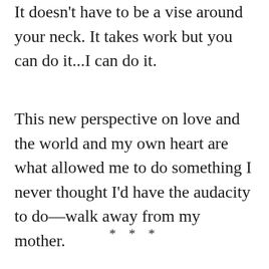It doesn't have to be a vise around your neck. It takes work but you can do it...I can do it.
This new perspective on love and the world and my own heart are what allowed me to do something I never thought I'd have the audacity to do—walk away from my mother.
* * *